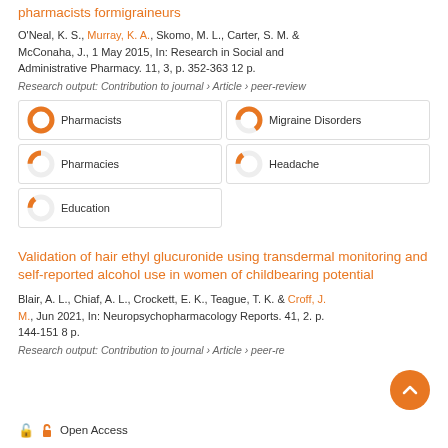pharmacists formigraineurs
O'Neal, K. S., Murray, K. A., Skomo, M. L., Carter, S. M. & McConaha, J., 1 May 2015, In: Research in Social and Administrative Pharmacy. 11, 3, p. 352-363 12 p.
Research output: Contribution to journal › Article › peer-review
[Figure (infographic): Keyword badges with donut chart icons: Pharmacists (100%), Migraine Disorders (~65%), Pharmacies (~25%), Headache (~15%), Education (~15%)]
Validation of hair ethyl glucuronide using transdermal monitoring and self-reported alcohol use in women of childbearing potential
Blair, A. L., Chiaf, A. L., Crockett, E. K., Teague, T. K. & Croff, J. M., Jun 2021, In: Neuropsychopharmacology Reports. 41, 2. p. 144-151 8 p.
Research output: Contribution to journal › Article › peer-review
Open Access